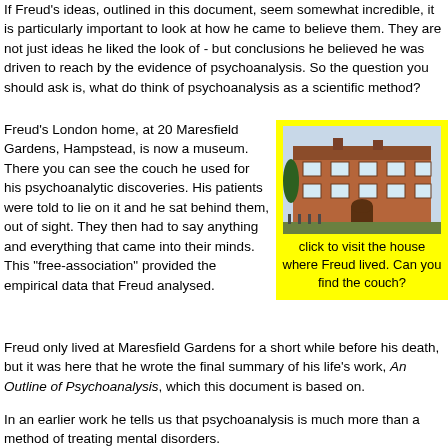If Freud's ideas, outlined in this document, seem somewhat incredible, it is particularly important to look at how he came to believe them. They are not just ideas he liked the look of - but conclusions he believed he was driven to reach by the evidence of psychoanalysis. So the question you should ask is, what do think of psychoanalysis as a scientific method?
Freud's London home, at 20 Maresfield Gardens, Hampstead, is now a museum. There you can see the couch he used for his psychoanalytic discoveries. His patients were told to lie on it and he sat behind them, out of sight. They then had to say anything and everything that came into their minds. This "free-association" provided the empirical data that Freud analysed.
[Figure (photo): Photo of Freud's London home at 20 Maresfield Gardens, Hampstead - a red brick building]
click to visit the house where Freud lived. Can you find the couch?
Freud only lived at Maresfield Gardens for a short while before his death, but it was here that he wrote the final summary of his life's work, An Outline of Psychoanalysis, which this document is based on.
In an earlier work he tells us that psychoanalysis is much more than a method of treating mental disorders.